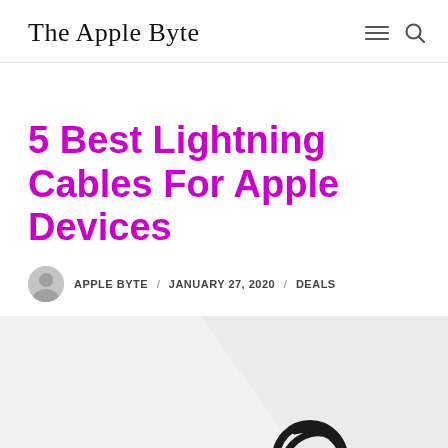The Apple Byte
5 Best Lightning Cables For Apple Devices
APPLE BYTE / JANUARY 27, 2020 / DEALS
[Figure (photo): A braided lightning cable with a knotted end, photographed on a light background]